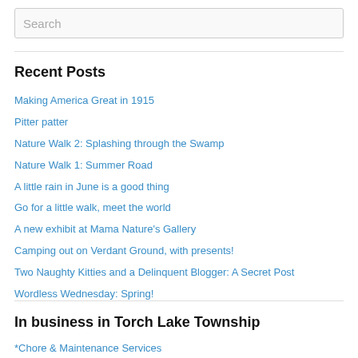Search
Recent Posts
Making America Great in 1915
Pitter patter
Nature Walk 2: Splashing through the Swamp
Nature Walk 1: Summer Road
A little rain in June is a good thing
Go for a little walk, meet the world
A new exhibit at Mama Nature's Gallery
Camping out on Verdant Ground, with presents!
Two Naughty Kitties and a Delinquent Blogger: A Secret Post
Wordless Wednesday: Spring!
In business in Torch Lake Township
*Chore & Maintenance Services